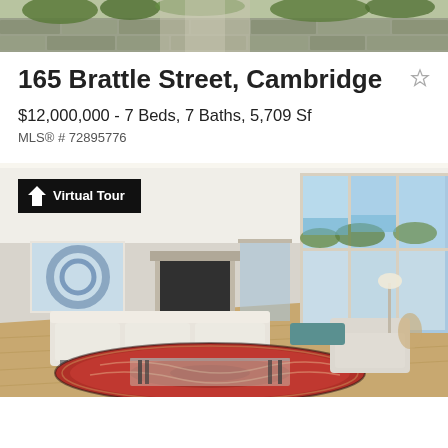[Figure (photo): Top portion of exterior photo of a stone/masonry property with greenery and a pathway]
165 Brattle Street, Cambridge
$12,000,000 - 7 Beds, 7 Baths, 5,709 Sf
MLS® # 72895776
[Figure (photo): Interior living room photo with large floor-to-ceiling windows, modern white sofa, colorful Persian rug, art on wall, and panoramic view of water and greenery. A 'Virtual Tour' badge overlays the top-left corner.]